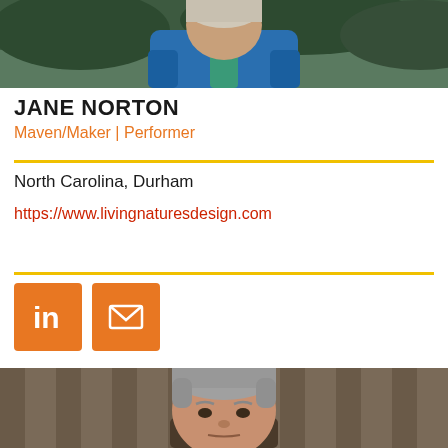[Figure (photo): Portrait photo of Jane Norton, top portion visible, woman in blue jacket with green/teal scarf, outdoor background]
JANE NORTON
Maven/Maker | Performer
North Carolina, Durham
https://www.livingnaturesdesign.com
[Figure (infographic): Orange LinkedIn icon button and orange email/envelope icon button]
[Figure (photo): Portrait photo of older man with grey hair, outdoor background with wooden fence, bottom portion of page]